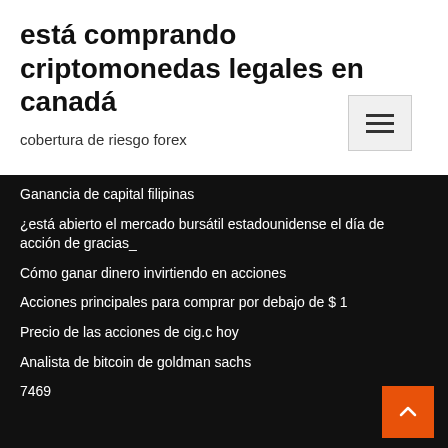está comprando criptomonedas legales en canadá
cobertura de riesgo forex
Ganancia de capital filipinas
¿está abierto el mercado bursátil estadounidense el día de acción de gracias_
Cómo ganar dinero invirtiendo en acciones
Acciones principales para comprar por debajo de $ 1
Precio de las acciones de cig.c hoy
Analista de bitcoin de goldman sachs
7469